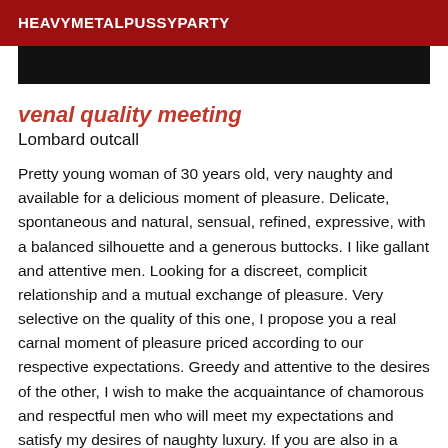HEAVYMETALPUSSYPARTY
venal quality meeting
Lombard outcall
Pretty young woman of 30 years old, very naughty and available for a delicious moment of pleasure. Delicate, spontaneous and natural, sensual, refined, expressive, with a balanced silhouette and a generous buttocks. I like gallant and attentive men. Looking for a discreet, complicit relationship and a mutual exchange of pleasure. Very selective on the quality of this one, I propose you a real carnal moment of pleasure priced according to our respective expectations. Greedy and attentive to the desires of the other, I wish to make the acquaintance of chamorous and respectful men who will meet my expectations and satisfy my desires of naughty luxury. If you are also in a similar and qualitative